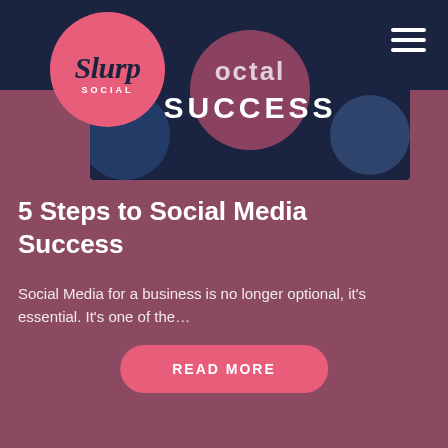[Figure (logo): Slurp Social logo — pink circle with script 'Slurp' text and 'SOCIAL' below in white]
[Figure (illustration): Hero image on dark navy background with decorative circles and the text 'octal' / 'SUCCESS' in white bold lettering]
5 Steps to Social Media Success
Social Media for a business is no longer optional, it’s essential. It’s one of the…
READ MORE